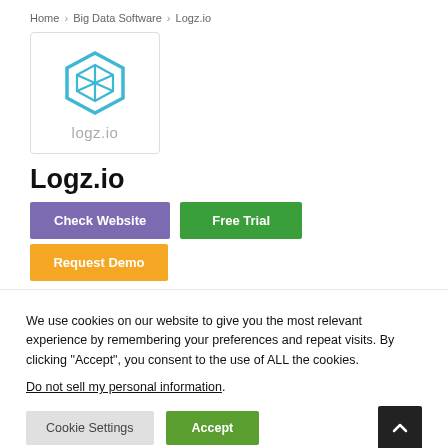Home > Big Data Software > Logz.io
[Figure (logo): Logz.io logo: teal/blue hexagonal box icon above grey text 'logz.io']
Logz.io
Check Website | Free Trial | Request Demo
We use cookies on our website to give you the most relevant experience by remembering your preferences and repeat visits. By clicking “Accept”, you consent to the use of ALL the cookies.
Do not sell my personal information.
Cookie Settings | Accept